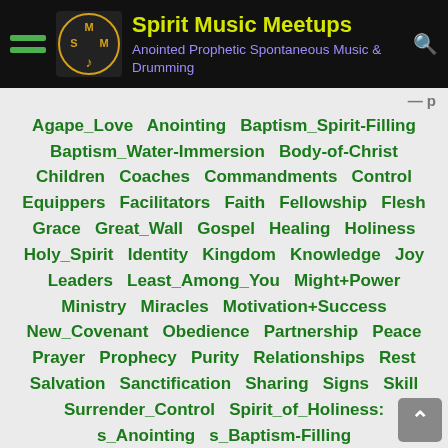Spirit Music Meetups — Anointed Prophetic Spontaneous Music & Drumming
Agape_Love  Anointing  Baptism_Spirit-Filling  Baptism_Water-Immersion  Body-of-Christ  Children  Coaches  Commandments  Control  Equippers  Facilitators  Faith  Fellowship  Flesh  Grace  Great_Wall  Gospel  Healing  Holiness  Holy_Spirit  Identity  Kingdom  Knowledge  Joy  Leaders  Least_Among_You  Might+Power  Ministry  Miracles  Motivation+Success  New_Covenant  Obedience  Partnership  Peace  Prayer  Prophecy  Purity  Relationships  Rest  Salvation  Sanctification  Sharing  Signs  Skill  Surrender_Control  Spirit_of_Holiness:  s_Anointing  s_Baptism-Filling  s_Fruit_of_Agape_Love:  sF_Faith+Faithfulness  sF_Joy  sF_Peace  s_Gifts_of_Spirit: